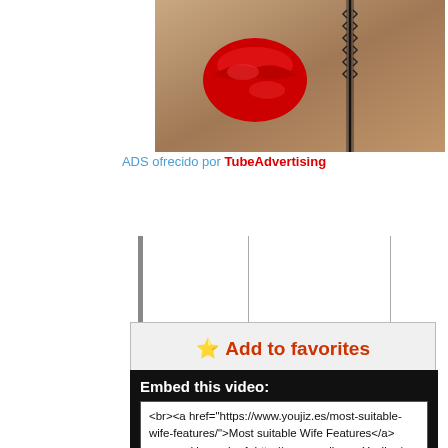[Figure (photo): Advertisement image showing partial body closeup with red lips graphic and zipper detail]
ADS ofrecido por TubeAdvertising
⭐ Add to favorites
0 views
19th.Sep.2021
Video publicado por: xxx
Categoría: Amateur
Embed this video:
<br><a href="https://www.youjiz.es/most-suitable-wife-features/">Most suitable Wife Features</a> powered by <a href=http://www.youjiz.es>Youjiz</a>.